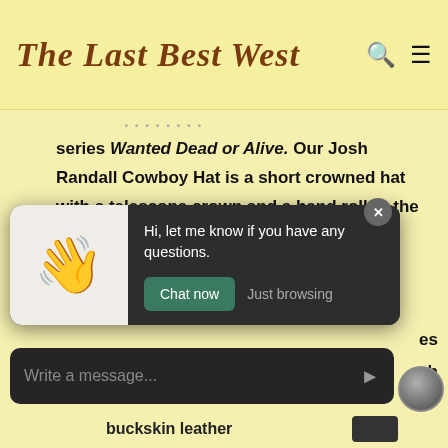The Last Best West
series Wanted Dead or Alive. Our Josh Randall Cowboy Hat is a short crowned hat with a telescope crown and a hand roll to the brim. Available in all colors - see color tab below for a complete list of
[Figure (screenshot): Chat widget popup with waving hand emoji, message 'Hi, let me know if you have any questions.' and buttons 'Chat now' and 'Just browsing']
Write a message...
buckskin leather